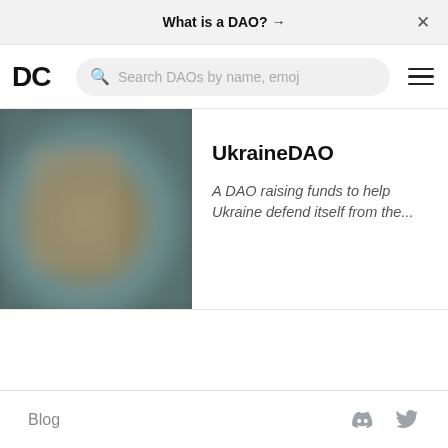What is a DAO? →
[Figure (screenshot): DC logo and search bar with placeholder 'Search DAOs by name, emoj' and hamburger menu icon]
[Figure (photo): Blurred/pixelated image, brownish-teal tones, associated with UkraineDAO]
UkraineDAO
A DAO raising funds to help Ukraine defend itself from the...
Blog